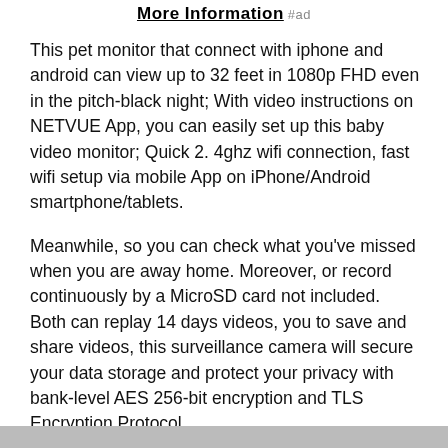More Information #ad
This pet monitor that connect with iphone and android can view up to 32 feet in 1080p FHD even in the pitch-black night; With video instructions on NETVUE App, you can easily set up this baby video monitor; Quick 2. 4ghz wifi connection, fast wifi setup via mobile App on iPhone/Android smartphone/tablets.
Meanwhile, so you can check what you’ve missed when you are away home. Moreover, or record continuously by a MicroSD card not included. Both can replay 14 days videos, you to save and share videos, this surveillance camera will secure your data storage and protect your privacy with bank-level AES 256-bit encryption and TLS Encryption Protocol. Net... you... me... you... dete...
As an Amazon Associate I earn from qualifying purchases. This website uses the only necessary cookies to ensure you get the best experience on our website. More information